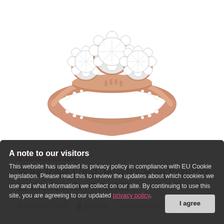[Figure (photo): A rose gold diamond engagement ring with three main diamond clusters surrounded by smaller diamonds, set on a rose gold band with pavé diamonds along the sides.]
Beauty & Fashion
Why Rose Gold Jewelry is so Popular in the Jewelry World?
March 21, 2022  LisaLisa  0 Comments
A note to our visitors
This website has updated its privacy policy in compliance with EU Cookie legislation. Please read this to review the updates about which cookies we use and what information we collect on our site. By continuing to use this site, you are agreeing to our updated privacy policy.
Choosing a classic piece of jewelry to compliment your outfits can sometimes be difficult. The yellow gold jewelry designs or white gold metal